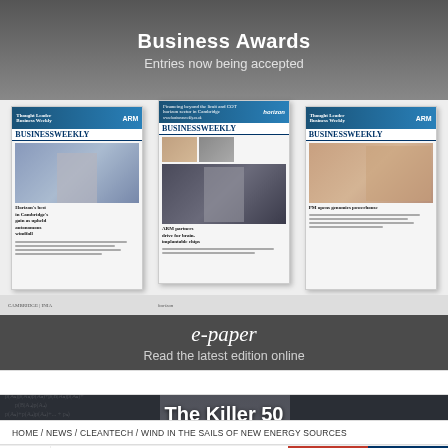Business Awards
Entries now being accepted
[Figure (photo): Three Business Weekly newspaper front pages displayed side by side]
e-paper
Read the latest edition online
[Figure (photo): Person on phone in front of chalkboard with math equations, with geometric structure and shoe — The Killer 50 promotional image]
The Killer 50
The 50 hottest disruptive technology companies
HOME / NEWS / CLEANTECH / WIND IN THE SAILS OF NEW ENERGY SOURCES
[Figure (photo): Advertisement banner: IT'S A STANCE YOU MIGHT — But bending over backwards to — IDEAS PEOPLE TRUST]